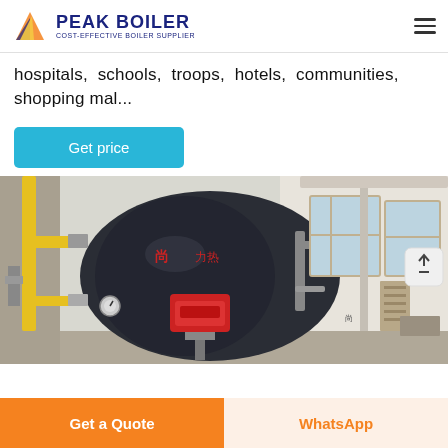PEAK BOILER COST-EFFECTIVE BOILER SUPPLIER
hospitals, schools, troops, hotels, communities, shopping mal...
Get price
[Figure (photo): Industrial gas-fired boiler in a boiler room with yellow gas pipes on the left and windows on the right. The boiler is dark grey/black with red burner equipment at the front.]
Get a Quote    WhatsApp